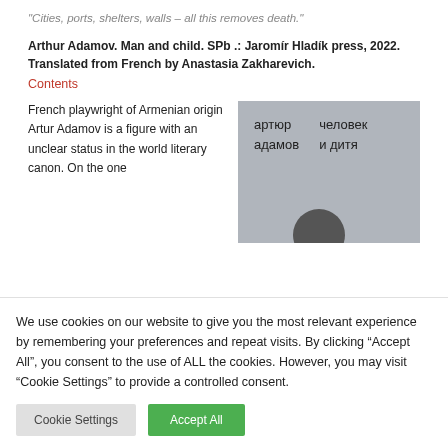“Cities, ports, shelters, walls – all this removes death.”
Arthur Adamov. Man and child. SPb .: Jaromír Hladík press, 2022. Translated from French by Anastasia Zakharevich.
Contents
French playwright of Armenian origin Artur Adamov is a figure with an unclear status in the world literary canon. On the one
[Figure (photo): Book cover in grey showing Russian text: 'артюр адамов' on the left and 'человек и дитя' on the right, with a partial dark circular illustration at the bottom.]
We use cookies on our website to give you the most relevant experience by remembering your preferences and repeat visits. By clicking “Accept All”, you consent to the use of ALL the cookies. However, you may visit "Cookie Settings" to provide a controlled consent.
Cookie Settings
Accept All